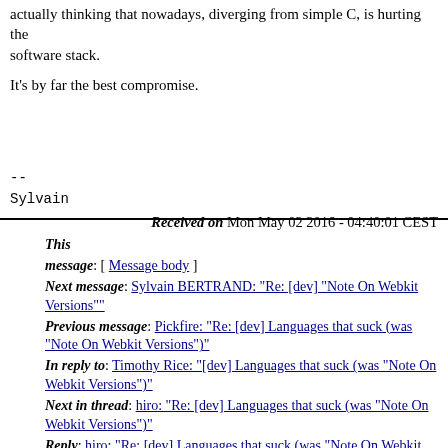actually thinking that nowadays, diverging from simple C, is hurting the software stack.
It's by far the best compromise.
--
Sylvain
Received on Mon May 02 2016 - 04:40:01 CEST
This message: [ Message body ]
Next message: Sylvain BERTRAND: "Re: [dev] "Note On Webkit Versions""
Previous message: Pickfire: "Re: [dev] Languages that suck (was "Note On Webkit Versions")"
In reply to: Timothy Rice: "[dev] Languages that suck (was "Note On Webkit Versions")"
Next in thread: hiro: "Re: [dev] Languages that suck (was "Note On Webkit Versions")"
Reply: hiro: "Re: [dev] Languages that suck (was "Note On Webkit Versions")"
Reply: Leo Gaspard: "Re: [dev] Languages that suck (was "Note On Webkit Versions")"